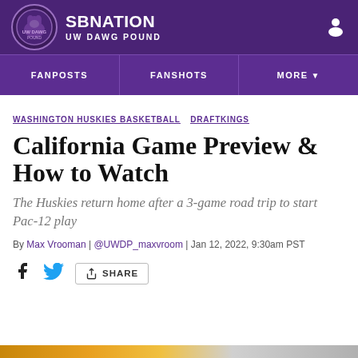SB NATION | UW DAWG POUND
FANPOSTS | FANSHOTS | MORE
WASHINGTON HUSKIES BASKETBALL DRAFTKINGS
California Game Preview & How to Watch
The Huskies return home after a 3-game road trip to start Pac-12 play
By Max Vrooman | @UWDP_maxvroom | Jan 12, 2022, 9:30am PST